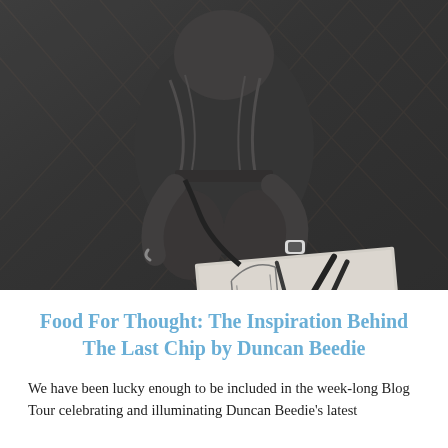[Figure (photo): Black and white overhead photograph of a person sitting on a wooden herringbone floor, bent over and working on a document or drawing with pens/markers. A watch is visible on their wrist.]
Food For Thought: The Inspiration Behind The Last Chip by Duncan Beedie
We have been lucky enough to be included in the week-long Blog Tour celebrating and illuminating Duncan Beedie's latest